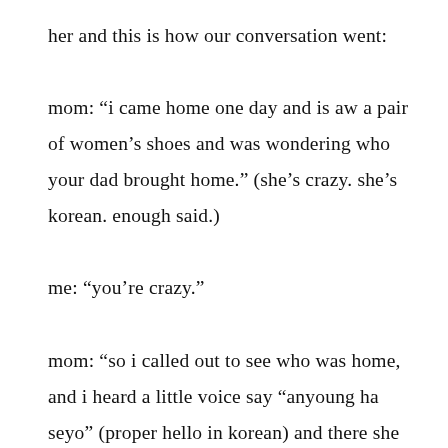her and this is how our conversation went:

mom: “i came home one day and is aw a pair of women’s shoes and was wondering who your dad brought home.” (she’s crazy. she’s korean. enough said.)

me: “you’re crazy.”

mom: “so i called out to see who was home, and i heard a little voice say “anyoung ha seyo” (proper hello in korean) and there she was. she